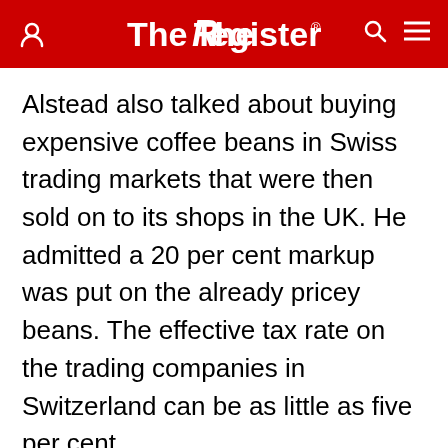The Register
Alstead also talked about buying expensive coffee beans in Swiss trading markets that were then sold on to its shops in the UK. He admitted a 20 per cent markup was put on the already pricey beans. The effective tax rate on the trading companies in Switzerland can be as little as five per cent.
Aside from the tiny amount of tax it has managed to pay in the UK, Starbucks is in the soup for telling analysts in a conference call in 2009 that the UK business was profitable and the firm saying in 2008 that Britain was one of the foreign markets with the best profit margins. It then reported British losses for both years.
All three companies have been asked to give more